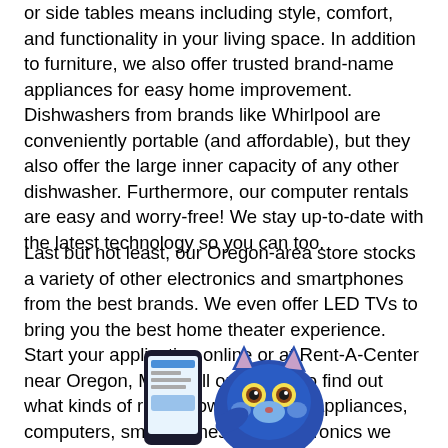or side tables means including style, comfort, and functionality in your living space. In addition to furniture, we also offer trusted brand-name appliances for easy home improvement. Dishwashers from brands like Whirlpool are conveniently portable (and affordable), but they also offer the large inner capacity of any other dishwasher. Furthermore, our computer rentals are easy and worry-free! We stay up-to-date with the latest technology so you can too.
Last but not least, our Oregon-area store stocks a variety of other electronics and smartphones from the best brands. We even offer LED TVs to bring you the best home theater experience. Start your application online or at Rent-A-Center near Oregon, MO. Call or stop by to find out what kinds of rent-to-own furniture, appliances, computers, smartphones, and electronics we have for you!
[Figure (illustration): Blue cartoon mascot character (animal/cat-like) holding a smartphone, partially visible at the bottom of the page]